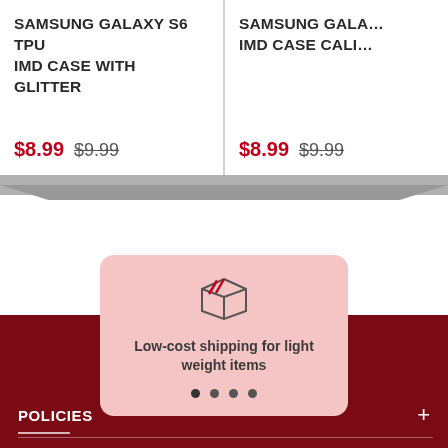SAMSUNG GALAXY S6 TPU IMD CASE WITH GLITTER
$8.99  $9.99
SAMSUNG GALA... IMD CASE CALI...
$8.99  $9.99
[Figure (illustration): Package/box shipping icon in outline style with red stripe detail]
Low-cost shipping for light weight items
POLICIES